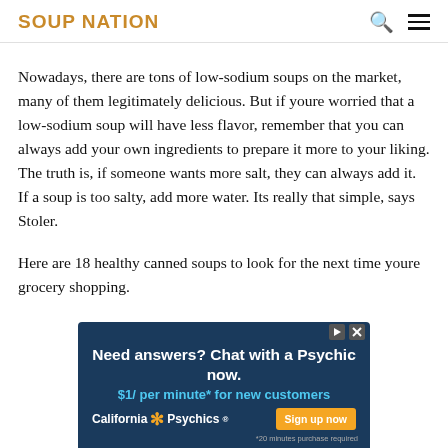SOUP NATION
Nowadays, there are tons of low-sodium soups on the market, many of them legitimately delicious. But if youre worried that a low-sodium soup will have less flavor, remember that you can always add your own ingredients to prepare it more to your liking. The truth is, if someone wants more salt, they can always add it. If a soup is too salty, add more water. Its really that simple, says Stoler.
Here are 18 healthy canned soups to look for the next time youre grocery shopping.
[Figure (other): Advertisement banner: Need answers? Chat with a Psychic now. $1/ per minute* for new customers. California Psychics. Sign up now. *20 minutes purchase required.]